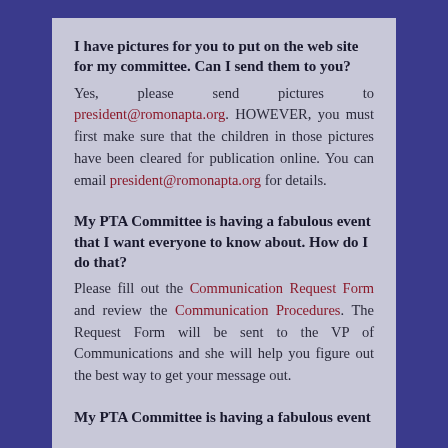I have pictures for you to put on the web site for my committee. Can I send them to you?
Yes, please send pictures to president@romonapta.org. HOWEVER, you must first make sure that the children in those pictures have been cleared for publication online. You can email president@romonapta.org for details.
My PTA Committee is having a fabulous event that I want everyone to know about. How do I do that?
Please fill out the Communication Request Form and review the Communication Procedures. The Request Form will be sent to the VP of Communications and she will help you figure out the best way to get your message out.
My PTA Committee is having a fabulous event